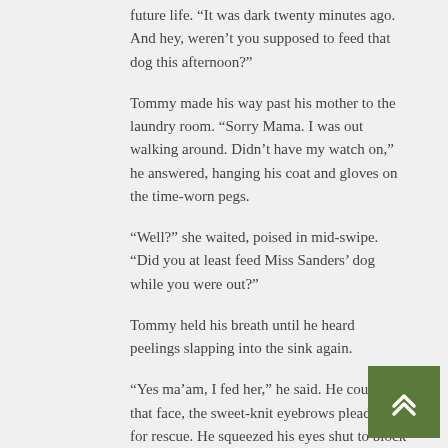future life. “It was dark twenty minutes ago. And hey, weren’t you supposed to feed that dog this afternoon?”
Tommy made his way past his mother to the laundry room. “Sorry Mama. I was out walking around. Didn’t have my watch on,” he answered, hanging his coat and gloves on the time-worn pegs.
“Well?” she waited, poised in mid-swipe. “Did you at least feed Miss Sanders’ dog while you were out?”
Tommy held his breath until he heard peelings slapping into the sink again.
“Yes ma’am, I fed her,” he said. He could see that face, the sweet-knit eyebrows pleading for rescue. He squeezed his eyes shut to block the sight.
“What’s that dog’s name, Carp or something?” Mama snickered, tossing a glance over her shoulder to track her son’s movement.
“Name’s Fish, Mama. Can I go up and change clothes now?” he answered. Not waiting for her response, Tommy turned for the stairs and began his ascent. Static from the shower blocked from the movement of his